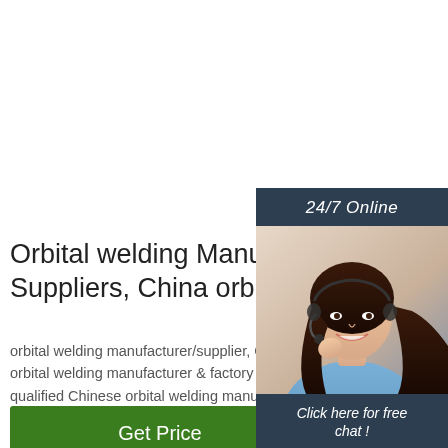[Figure (photo): Customer service agent photo with 24/7 Online label, 'Click here for free chat!' text, and QUOTATION button — dark navy chat widget panel on the right side]
Orbital welding Manufacturers, Suppliers, China orbital ...
orbital welding manufacturer/supplier, China orbital welding manufacturer & factory list, find qualified Chinese orbital welding manufacturers, suppliers, factories, exporters & …
Get Price